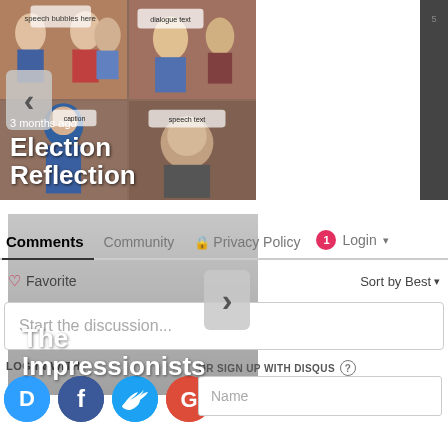[Figure (screenshot): Carousel with two content cards. Left card shows a comic strip collage with text 'Election Reflection' and '3 months ago'. Middle card is gray placeholder with text 'The Impressionists' and '3 months ago'. Navigation arrows visible.]
3 months ago
Election Reflection
3 months ago
The Impressionists
Comments  Community  🔒 Privacy Policy  1  Login
♡ Favorite
Sort by Best ▾
Start the discussion...
LOG IN WITH
OR SIGN UP WITH DISQUS ?
Name